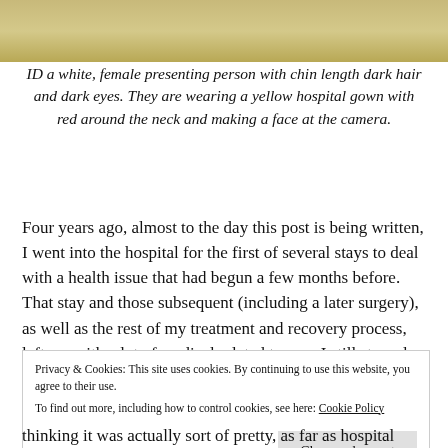[Figure (photo): A tan/golden background image at the top of the page, appearing to be a cropped photograph.]
ID a white, female presenting person with chin length dark hair and dark eyes. They are wearing a yellow hospital gown with red around the neck and making a face at the camera.
Four years ago, almost to the day this post is being written, I went into the hospital for the first of several stays to deal with a health issue that had begun a few months before. That stay and those subsequent (including a later surgery), as well as the rest of my treatment and recovery process, left me with a lot of medical related trauma I still struggle with nearly daily. I actively try to avoid thinking about that time,
Privacy & Cookies: This site uses cookies. By continuing to use this website, you agree to their use.
To find out more, including how to control cookies, see here: Cookie Policy
Close and accept
thinking it was actually sort of pretty, as far as hospital